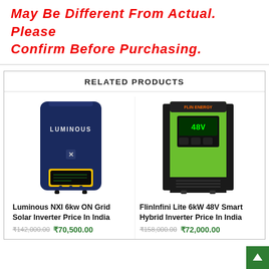May Be Different From Actual. Please Confirm Before Purchasing.
RELATED PRODUCTS
[Figure (photo): Luminous NXI 6kw ON Grid Solar Inverter – dark navy blue wall-mounted unit with yellow display panel and Luminous branding]
Luminous NXI 6kw ON Grid Solar Inverter Price In India
₹142,000.00  ₹70,500.00
[Figure (photo): FlinInfini Lite 6kW 48V Smart Hybrid Inverter – bright green box-shaped unit with black trim and digital display]
FlinInfini Lite 6kW 48V Smart Hybrid Inverter Price In India
₹158,000.00  ₹72,000.00